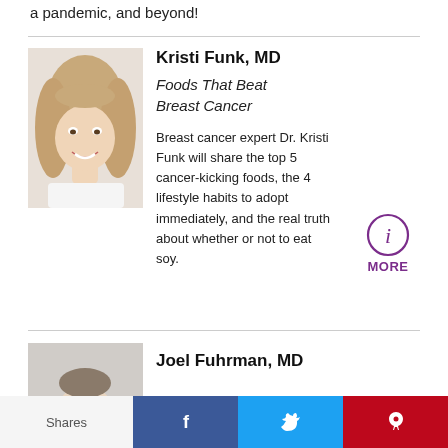a pandemic, and beyond!
[Figure (photo): Headshot of Kristi Funk, MD — blonde woman smiling]
Kristi Funk, MD
Foods That Beat Breast Cancer
Breast cancer expert Dr. Kristi Funk will share the top 5 cancer-kicking foods, the 4 lifestyle habits to adopt immediately, and the real truth about whether or not to eat soy.
[Figure (infographic): Purple circle info icon with MORE label below]
Joel Fuhrman, MD
[Figure (photo): Partial headshot of Joel Fuhrman, MD]
Shares | f | t | p